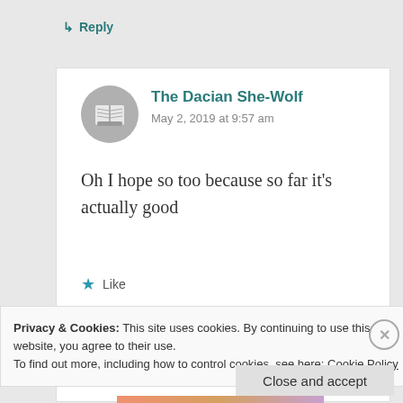↳ Reply
[Figure (photo): Circular avatar photo of a person reading a book, black and white]
The Dacian She-Wolf
May 2, 2019 at 9:57 am
Oh I hope so too because so far it's actually good
★ Like
Privacy & Cookies: This site uses cookies. By continuing to use this website, you agree to their use.
To find out more, including how to control cookies, see here: Cookie Policy
Close and accept